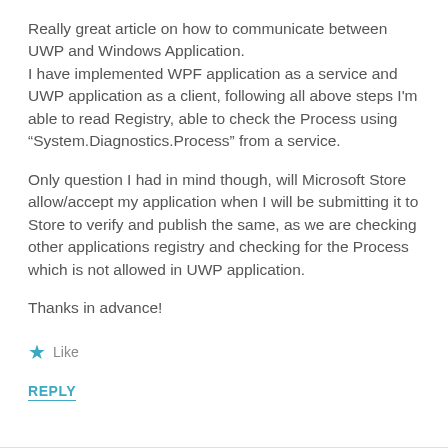Really great article on how to communicate between UWP and Windows Application.
I have implemented WPF application as a service and UWP application as a client, following all above steps I'm able to read Registry, able to check the Process using “System.Diagnostics.Process” from a service.
Only question I had in mind though, will Microsoft Store allow/accept my application when I will be submitting it to Store to verify and publish the same, as we are checking other applications registry and checking for the Process which is not allowed in UWP application.
Thanks in advance!
Like
REPLY